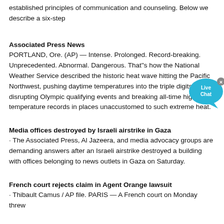established principles of communication and counseling. Below we describe a six-step
Associated Press News
PORTLAND, Ore. (AP) — Intense. Prolonged. Record-breaking. Unprecedented. Abnormal. Dangerous. That''s how the National Weather Service described the historic heat wave hitting the Pacific Northwest, pushing daytime temperatures into the triple digits, disrupting Olympic qualifying events and breaking all-time high temperature records in places unaccustomed to such extreme heat.
Media offices destroyed by Israeli airstrike in Gaza
· The Associated Press, Al Jazeera, and media advocacy groups are demanding answers after an Israeli airstrike destroyed a building with offices belonging to news outlets in Gaza on Saturday.
French court rejects claim in Agent Orange lawsuit
· Thibault Camus / AP file. PARIS — A French court on Monday threw